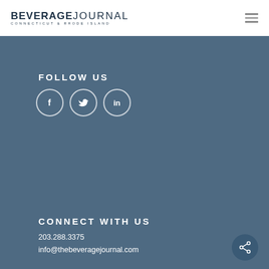[Figure (logo): Beverage Journal Connecticut & Rhode Island logo in dark navy]
[Figure (illustration): Hamburger menu icon (three horizontal lines)]
FOLLOW US
[Figure (illustration): Three circular social media icons: Facebook, Twitter, LinkedIn]
CONNECT WITH US
203.288.3375
info@thebeveragejournal.com
[Figure (illustration): Share button circle icon]